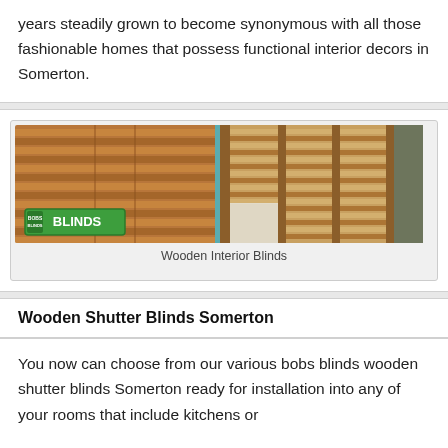years steadily grown to become synonymous with all those fashionable homes that possess functional interior decors in Somerton.
[Figure (photo): Photo of wooden interior blinds on windows, with BOBS BLINDS logo overlay]
Wooden Interior Blinds
Wooden Shutter Blinds Somerton
You now can choose from our various bobs blinds wooden shutter blinds Somerton ready for installation into any of your rooms that include kitchens or